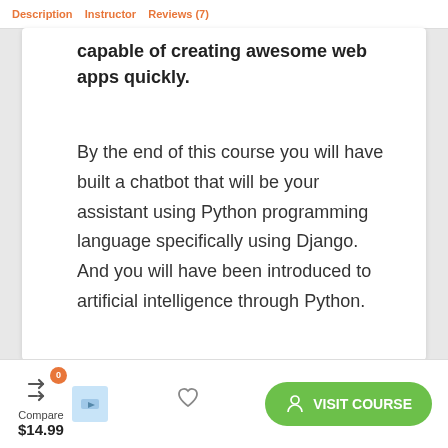Description  Instructor  Reviews (7)
capable of creating awesome web apps quickly.
By the end of this course you will have built a chatbot that will be your assistant using Python programming language specifically using Django. And you will have been introduced to artificial intelligence through Python.
Compare $14.99
VISIT COURSE